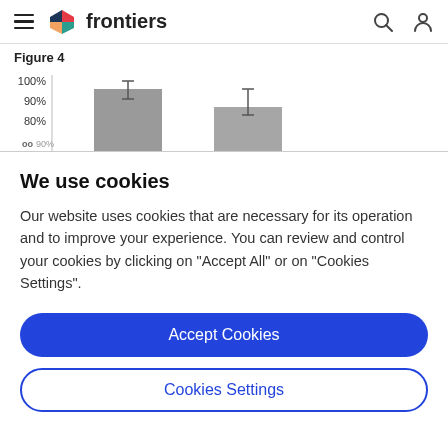frontiers
[Figure (bar-chart): Partial bar chart showing bars at approximately 90-95% height, with error bars, cropped at bottom]
Figure 4
We use cookies
Our website uses cookies that are necessary for its operation and to improve your experience. You can review and control your cookies by clicking on "Accept All" or on "Cookies Settings".
Accept Cookies
Cookies Settings